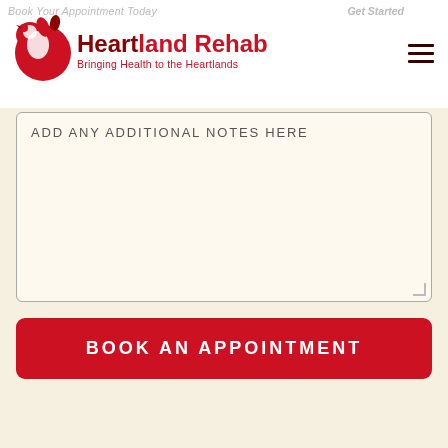[Figure (logo): Heartland Rehab logo with red floral/bird icon, text 'Heartland Rehab' in red and dark red, subtitle 'Bringing Health to the Heartlands' in red]
Book Your Appointment Today   Get Started
ADD ANY ADDITIONAL NOTES HERE
BOOK AN APPOINTMENT